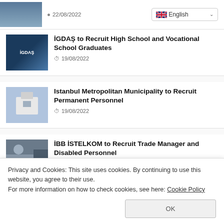22/08/2022
[Figure (screenshot): English language selector dropdown]
İGDAŞ to Recruit High School and Vocational School Graduates
19/08/2022
Istanbul Metropolitan Municipality to Recruit Permanent Personnel
19/08/2022
İBB İSTELKOM to Recruit Trade Manager and Disabled Personnel
Privacy and Cookies: This site uses cookies. By continuing to use this website, you agree to their use.
For more information on how to check cookies, see here: Cookie Policy